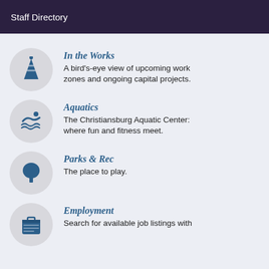Staff Directory
In the Works
A bird's-eye view of upcoming work zones and ongoing capital projects.
Aquatics
The Christiansburg Aquatic Center: where fun and fitness meet.
Parks & Rec
The place to play.
Employment
Search for available job listings with